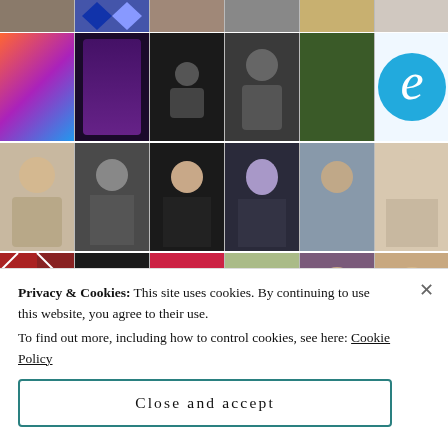[Figure (screenshot): A grid of user avatar photos and icons, 6 columns × 6+ rows, showing various profile pictures including people, patterns, and icons from a social/blogging platform.]
Privacy & Cookies: This site uses cookies. By continuing to use this website, you agree to their use.
To find out more, including how to control cookies, see here: Cookie Policy
Close and accept